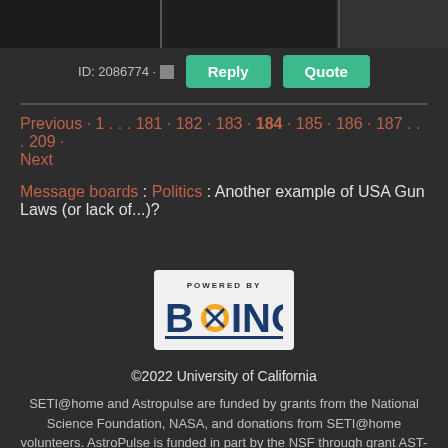[Figure (photo): Dark top strip with partial image of a person]
ID: 2086774 · Reply Quote
Previous · 1 . . . 181 · 182 · 183 · 184 · 185 · 186 · 187 . . . 209 · Next
Message boards : Politics : Another example of USA Gun Laws (or lack of...)?
[Figure (logo): Powered by BOINC logo]
©2022 University of California
SETI@home and Astropulse are funded by grants from the National Science Foundation, NASA, and donations from SETI@home volunteers. AstroPulse is funded in part by the NSF through grant AST-0307956.